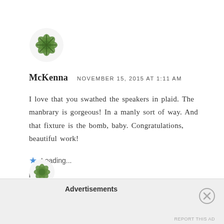[Figure (logo): Green snowflake/flower decorative avatar icon]
McKenna   NOVEMBER 15, 2015 AT 1:11 AM
I love that you swathed the speakers in plaid. The manbrary is gorgeous! In a manly sort of way. And that fixture is the bomb, baby. Congratulations, beautiful work!
★ Loading...
REPLY
[Figure (logo): Second green avatar icon partially visible]
Advertisements
REPORT THIS AD